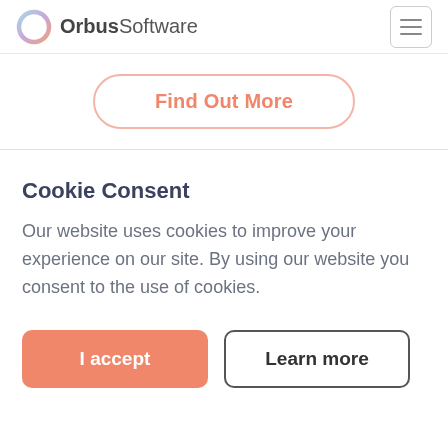OrbusSoftware
Find Out More
Cookie Consent
Our website uses cookies to improve your experience on our site. By using our website you consent to the use of cookies.
I accept
Learn more